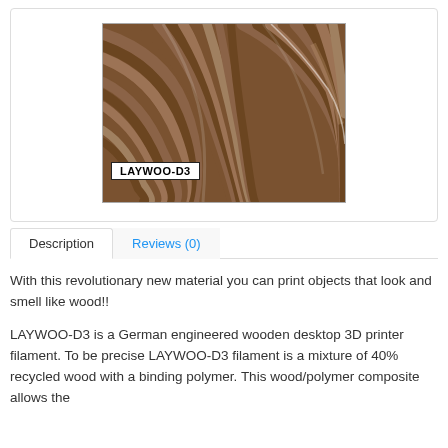[Figure (photo): Close-up photo of brown LAYWOO-D3 wood filament coiled on a spool, with a white label reading 'LAYWOO-D3' in the lower-left corner.]
Description
Reviews (0)
With this revolutionary new material you can print objects that look and smell like wood!!
LAYWOO-D3 is a German engineered wooden desktop 3D printer filament. To be precise LAYWOO-D3 filament is a mixture of 40% recycled wood with a binding polymer. This wood/polymer composite allows the